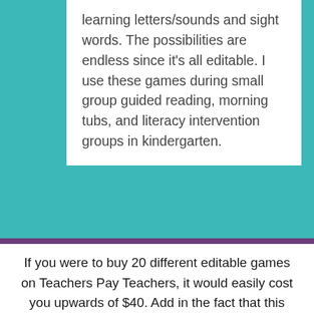learning letters/sounds and sight words. The possibilities are endless since it's all editable. I use these games during small group guided reading, morning tubs, and literacy intervention groups in kindergarten.
If you were to buy 20 different editable games on Teachers Pay Teachers, it would easily cost you upwards of $40. Add in the fact that this bundle comes with recording sheets for nearly every activity and you can edit the instructions and titles, and this would be worth $50 or more. HONESTLY, the time it will save you is more than worth the...